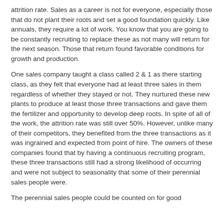attrition rate. Sales as a career is not for everyone, especially those that do not plant their roots and set a good foundation quickly. Like annuals, they require a lot of work. You know that you are going to be constantly recruiting to replace these as not many will return for the next season. Those that return found favorable conditions for growth and production.
One sales company taught a class called 2 & 1 as there starting class, as they felt that everyone had at least three sales in them regardless of whether they stayed or not. They nurtured these new plants to produce at least those three transactions and gave them the fertilizer and opportunity to develop deep roots. In spite of all of the work, the attrition rate was still over 50%. However, unlike many of their competitors, they benefited from the three transactions as it was ingrained and expected from point of hire. The owners of these companies found that by having a continuous recruiting program, these three transactions still had a strong likelihood of occurring and were not subject to seasonality that some of their perennial sales people were.
The perennial sales people could be counted on for good